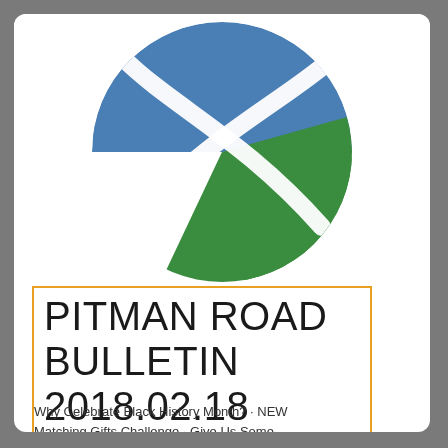[Figure (logo): Circular logo with blue upper-left segment and green lower-right segment, divided by white brushstroke-style lines forming an X shape]
PITMAN ROAD BULLETIN 2018.02.18
Why Celebrate Black History Month? · NEW Matching Gifts Challenge · Give Us Some